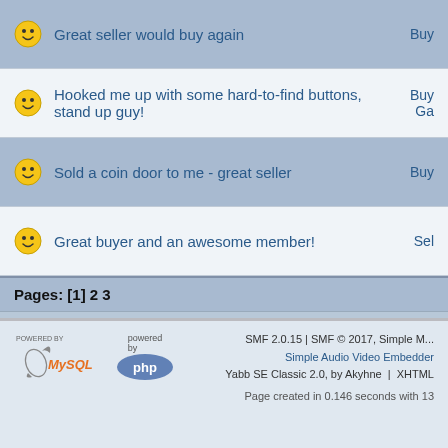Great seller would buy again | Buy
Hooked me up with some hard-to-find buttons, stand up guy! | Buy Ga
Sold a coin door to me - great seller | Buy
Great buyer and an awesome member! | Sel
Pages: [1] 2 3
Powered by SMF Trader Syst
SMF 2.0.15 | SMF © 2017, Simple M... Simple Audio Video Embedder Yabb SE Classic 2.0, by Akyhne | XHTML Page created in 0.146 seconds with 13